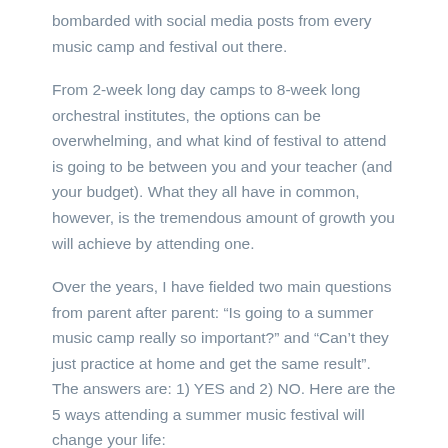bombarded with social media posts from every music camp and festival out there.
From 2-week long day camps to 8-week long orchestral institutes, the options can be overwhelming, and what kind of festival to attend is going to be between you and your teacher (and your budget). What they all have in common, however, is the tremendous amount of growth you will achieve by attending one.
Over the years, I have fielded two main questions from parent after parent: “Is going to a summer music camp really so important?” and “Can’t they just practice at home and get the same result”. The answers are: 1) YES and 2) NO. Here are the 5 ways attending a summer music festival will change your life:
1).  Forced Practice Time.